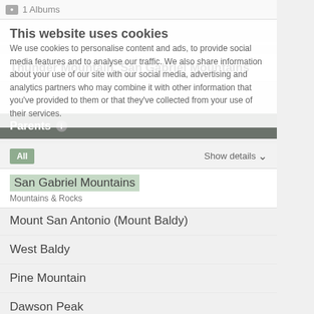1 Albums
This website uses cookies
We use cookies to personalise content and ads, to provide social media features and to analyse our traffic. We also share information about your use of our site with our social media, advertising and analytics partners who may combine it with other information that you've provided to them or that they've collected from your use of their services.
Thunder Mountain, San Gabriel Mountains
Parents
San Gabriel Mountains
Mountains & Rocks
Mount San Antonio (Mount Baldy)
West Baldy
Pine Mountain
Dawson Peak
Mount Harwood
Baden-Powell
Throop Peak
Mount Burnham
Telegraph Peak